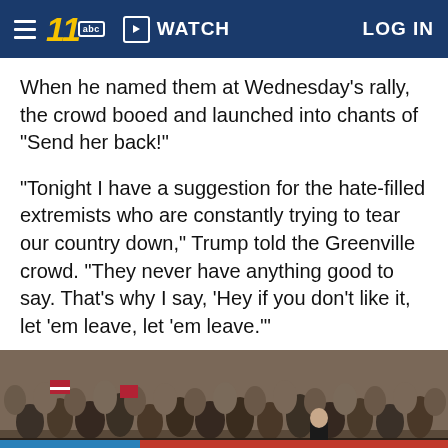WATCH   LOG IN
When he named them at Wednesday's rally, the crowd booed and launched into chants of "Send her back!"
"Tonight I have a suggestion for the hate-filled extremists who are constantly trying to tear our country down," Trump told the Greenville crowd. "They never have anything good to say. That's why I say, 'Hey if you don't like it, let 'em leave, let 'em leave.'"
[Figure (photo): Photo of a large crowd at a political rally with a banner reading 'MAKE AMERICA GREAT!' A figure in a suit stands near the banner. A video play button overlay is visible in the lower center.]